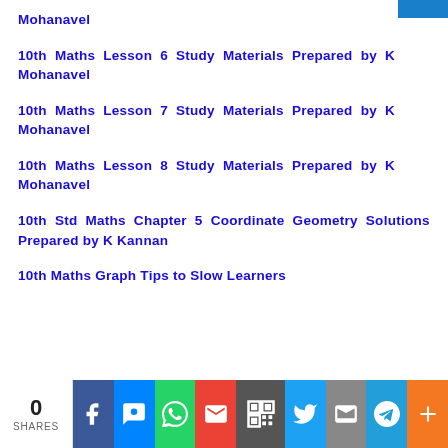Mohanavel
10th Maths Lesson 6 Study Materials Prepared by K Mohanavel
10th Maths Lesson 7 Study Materials Prepared by K Mohanavel
10th Maths Lesson 8 Study Materials Prepared by K Mohanavel
10th Std Maths Chapter 5 Coordinate Geometry Solutions Prepared by K Kannan
10th Maths Graph Tips to Slow Learners
0 SHARES | Facebook | Messenger | WhatsApp | Gmail | QR | Twitter | Email | Telegram | More